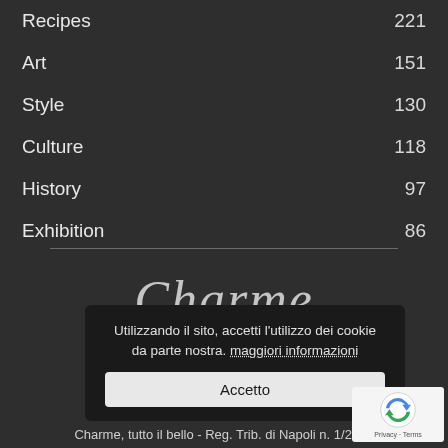Recipes 221
Art 151
Style 130
Culture 118
History 97
Exhibition 86
[Figure (logo): Charme magazine logo in italic serif font]
Utilizzando il sito, accetti l'utilizzo dei cookie da parte nostra. maggiori informazioni
Accetto
[Figure (other): reCAPTCHA widget showing recycling arrows logo with Privacy - Terms text]
Charme, tutto il bello - Reg. Trib. di Napoli n. 1/2007